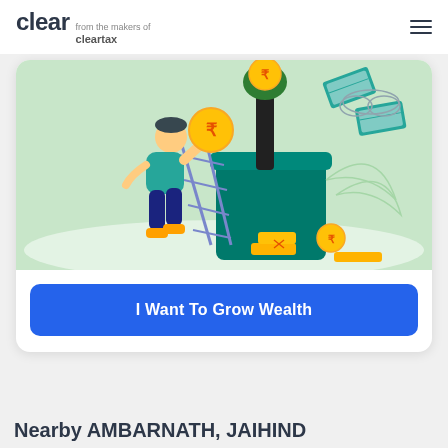clear from the makers of cleartax
[Figure (illustration): Illustration of a person climbing a ladder to place a large rupee coin into a green pot, with a money tree and floating currency notes in the background, on a light green background]
I Want To Grow Wealth
Nearby AMBARNATH, JAIHIND